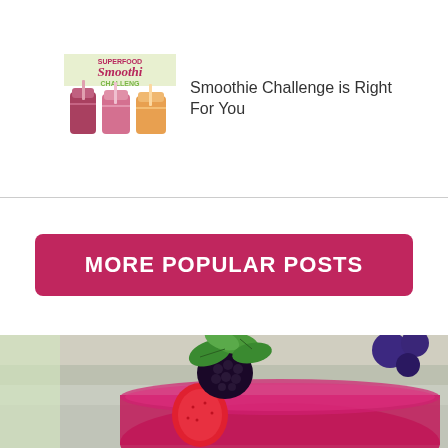[Figure (logo): Superfood Smoothie Challenge logo with colorful smoothie jars]
Smoothie Challenge is Right For You
MORE POPULAR POSTS
[Figure (photo): Close-up photo of a dark red/magenta smoothie in a glass garnished with a blackberry and mint leaves]